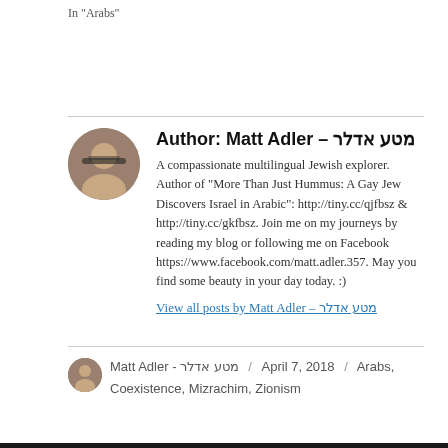In "Arabs"
Author: Matt Adler – מטע אדלר
A compassionate multilingual Jewish explorer. Author of "More Than Just Hummus: A Gay Jew Discovers Israel in Arabic": http://tiny.cc/qjfbsz & http://tiny.cc/gkfbsz. Join me on my journeys by reading my blog or following me on Facebook https://www.facebook.com/matt.adler.357. May you find some beauty in your day today. :)
View all posts by Matt Adler – מטע אדלר
Matt Adler - מטע אדלר / April 7, 2018 / Arabs, Coexistence, Mizrachim, Zionism